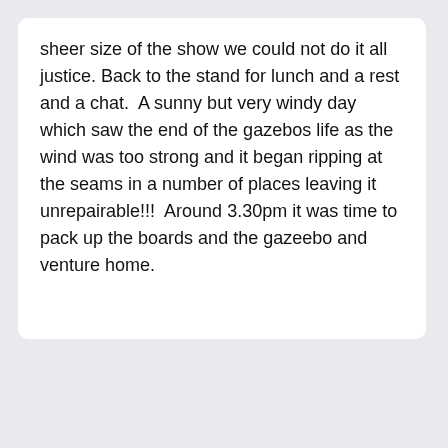sheer size of the show we could not do it all justice. Back to the stand for lunch and a rest and a chat.  A sunny but very windy day which saw the end of the gazebos life as the wind was too strong and it began ripping at the seams in a number of places leaving it unrepairable!!!  Around 3.30pm it was time to pack up the boards and the gazeebo and venture home.